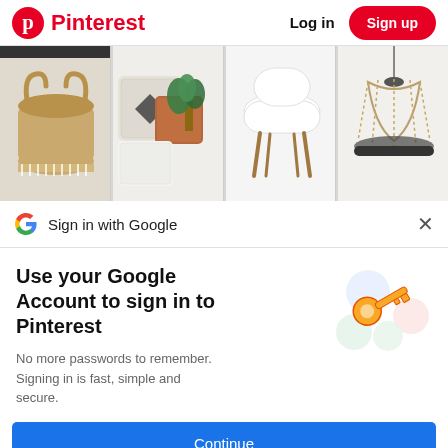Pinterest  Log in  Sign up
[Figure (photo): Pinterest image grid showing home decor items: woven basket, decorative pillows with plant, modern white chair, and a beaded chandelier]
Sign in with Google
Use your Google Account to sign in to Pinterest
No more passwords to remember. Signing in is fast, simple and secure.
[Figure (illustration): Google key illustration with colorful circles and a golden key]
Continue